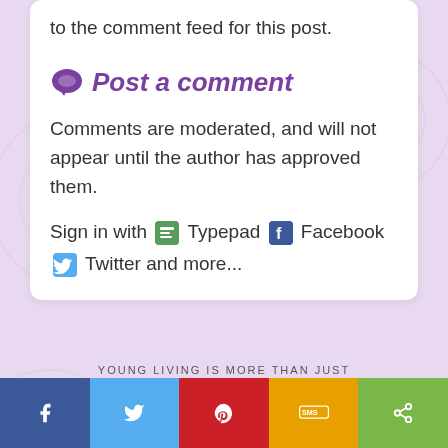to the comment feed for this post.
Post a comment
Comments are moderated, and will not appear until the author has approved them.
Sign in with Typepad Facebook Twitter and more...
YOUNG LIVING IS MORE THAN JUST
[Figure (infographic): Social share bar with Facebook, Twitter, Pinterest, SMS, and share buttons]